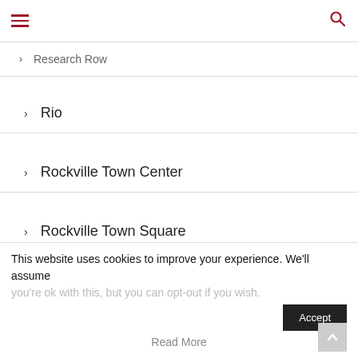Navigation header with hamburger menu and search icon
> Research Row
> Rio
> Rockville Town Center
> Rockville Town Square
> Travilah Square
> Traville Gateway
> Shopping Mall
This website uses cookies to improve your experience. We'll assume you're ok with this, but you can opt-out if you wish.
Read More